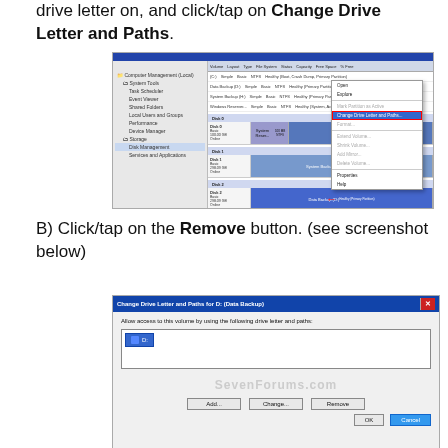drive letter on, and click/tap on Change Drive Letter and Paths.
[Figure (screenshot): Windows Disk Management window showing context menu with 'Change Drive Letter and Paths' option highlighted in red, with a red arrow pointing to it. SevenForums.com watermark visible.]
B) Click/tap on the Remove button. (see screenshot below)
[Figure (screenshot): Change Drive Letter and Paths for D: (Data Backup) dialog box showing D: drive listed, with Add, Change, and Remove buttons. SevenForums.com watermark visible. OK and Cancel buttons at bottom.]